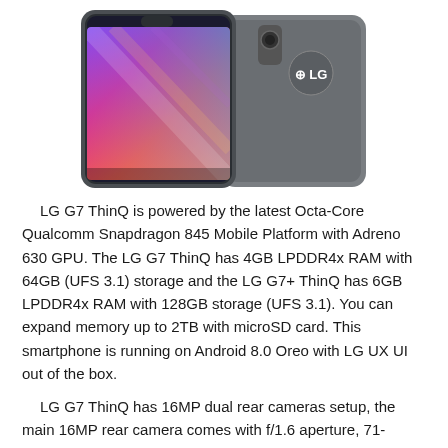[Figure (photo): LG G7 ThinQ smartphone shown from front and back angles. The front displays a colorful abstract wallpaper with purple, orange, and pink gradients. The back shows the LG logo. The phone has a notch display and dark gray body.]
LG G7 ThinQ is powered by the latest Octa-Core Qualcomm Snapdragon 845 Mobile Platform with Adreno 630 GPU. The LG G7 ThinQ has 4GB LPDDR4x RAM with 64GB (UFS 3.1) storage and the LG G7+ ThinQ has 6GB LPDDR4x RAM with 128GB storage (UFS 3.1). You can expand memory up to 2TB with microSD card. This smartphone is running on Android 8.0 Oreo with LG UX UI out of the box.
LG G7 ThinQ has 16MP dual rear cameras setup, the main 16MP rear camera comes with f/1.6 aperture, 71-degree wide-angle lens, and the secondary 16MP rear camera comes with 107-degree super-wide-angle lens with f/1.9 aperture and LED flash. It has 8MP front-facing camera with 80-degree wide-